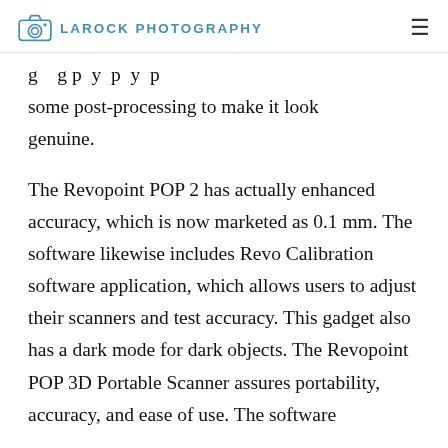LAROCK PHOTOGRAPHY
g    g p  y  p  y  p some post-processing to make it look genuine.
The Revopoint POP 2 has actually enhanced accuracy, which is now marketed as 0.1 mm. The software likewise includes Revo Calibration software application, which allows users to adjust their scanners and test accuracy. This gadget also has a dark mode for dark objects. The Revopoint POP 3D Portable Scanner assures portability, accuracy, and ease of use. The software